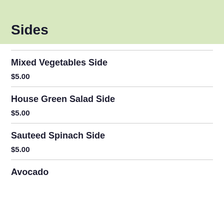Sides
Mixed Vegetables Side
$5.00
House Green Salad Side
$5.00
Sauteed Spinach Side
$5.00
Avocado